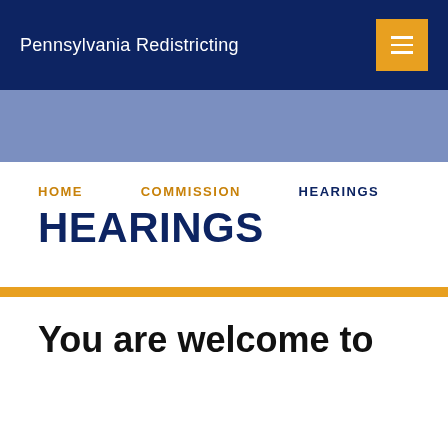Pennsylvania Redistricting
HOME   COMMISSION   HEARINGS
HEARINGS
You are welcome to